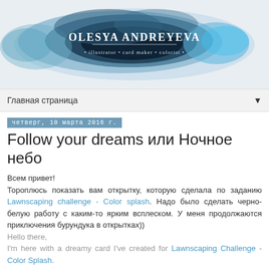[Figure (illustration): Blog header banner with blue watercolor ink splash background and text 'Olesya Andreyeva' with subtitle '• illustrator • card maker • colorist •']
Главная страница
четверг, 10 марта 2016 г.
Follow your dreams или Ночное небо
Всем привет!
Тороплюсь показать вам открытку, которую сделала по заданию Lawnscaping challenge - Color splash. Надо было сделать черно-белую работу с каким-то ярким всплеском. У меня продолжаются приключения бурундука в открытках))
Hello there,
I'm here with a dreamy card I've created for Lawnscaping Challenge - Color Splash.